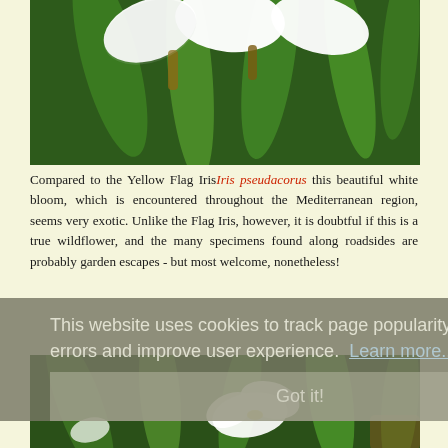[Figure (photo): Close-up photograph of white iris flowers (Iris florentina or similar white iris) with green stems and leaves, viewed from above]
Compared to the Yellow Flag Iris Iris pseudacorus this beautiful white bloom, which is encountered throughout the Mediterranean region, seems very exotic. Unlike the Flag Iris, however, it is doubtful if this is a true wildflower, and the many specimens found along roadsides are probably garden escapes - but most welcome, nonetheless!
This website uses cookies to track page popularity, trace errors and improve user experience. Learn more...
[Figure (photo): Close-up photograph of a white iris flower with yellow markings, photographed from above showing petals and leaves]